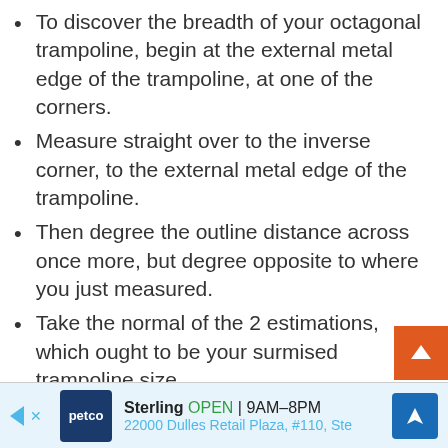To discover the breadth of your octagonal trampoline, begin at the external metal edge of the trampoline, at one of the corners.
Measure straight over to the inverse corner, to the external metal edge of the trampoline.
Then degree the outline distance across once more, but degree opposite to where you just measured.
Take the normal of the 2 estimations, which ought to be your surmised trampoline size.
Measuring twice this way will help ensure that you simply get an exact estimation in case the outline is bowed or harmed, or the trampo…
Sterling OPEN | 9AM–8PM  22000 Dulles Retail Plaza, #110, Ste